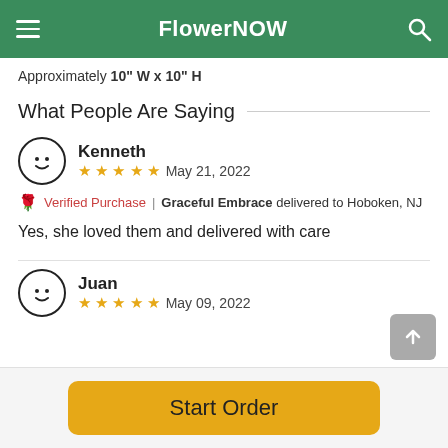FlowerNOW
Approximately 10" W x 10" H
What People Are Saying
Kenneth
★★★★★ May 21, 2022
🌹 Verified Purchase | Graceful Embrace delivered to Hoboken, NJ
Yes, she loved them and delivered with care
Juan
★★★★★ May 09, 2022